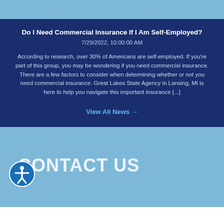Do I Need Commercial Insurance If I Am Self-Employed?
7/29/2022, 10:00:00 AM
According to research, over 30% of Americans are self-employed. If you're part of this group, you may be wondering if you need commercial insurance. There are a few factors to consider when determining whether or not you need commercial insurance. Great Lakes State Agency in Lansing, MI is here to help you navigate this important insurance [...]
View All News →
CONTACT US